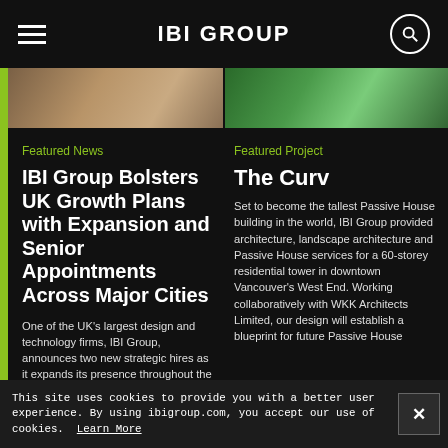IBI GROUP
[Figure (photo): Partial photo strip: left side shows warm-toned interior/material photo, right side shows green foliage/outdoor photo]
Featured News
IBI Group Bolsters UK Growth Plans with Expansion and Senior Appointments Across Major Cities
One of the UK’s largest design and technology firms, IBI Group, announces two new strategic hires as it expands its presence throughout the country.
Featured Project
The Curv
Set to become the tallest Passive House building in the world, IBI Group provided architecture, landscape architecture and Passive House services for a 60-storey residential tower in downtown Vancouver’s West End. Working collaboratively with WKK Architects Limited, our design will establish a blueprint for future Passive House...
This site uses cookies to provide you with a better user experience. By using ibigroup.com, you accept our use of cookies.  Learn More